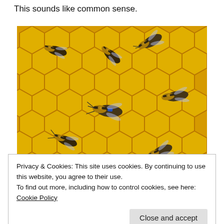This sounds like common sense.
[Figure (photo): Close-up photo of honey bees on a golden honeycomb. One bee in the center has a blue marker on its thorax. Multiple bees visible crawling over the hexagonal wax cells.]
Privacy & Cookies: This site uses cookies. By continuing to use this website, you agree to their use.
To find out more, including how to control cookies, see here: Cookie Policy
Close and accept